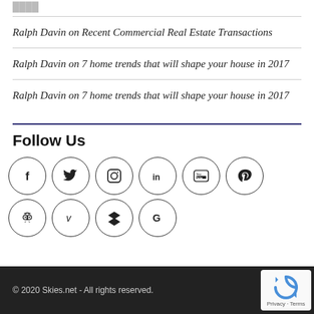Ralph Davin on Recent Commercial Real Estate Transactions
Ralph Davin on 7 home trends that will shape your house in 2017
Ralph Davin on 7 home trends that will shape your house in 2017
Follow Us
[Figure (infographic): 10 social media icons in circles: Facebook, Twitter, Instagram, LinkedIn, YouTube, Pinterest, Hootsuite, Vimeo, Dropbox, Google]
© 2020 Skies.net - All rights reserved.